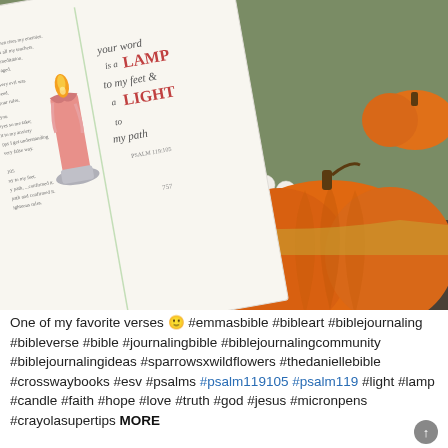[Figure (photo): A Bible open to a journaling page with a hand-drawn pink candle illustration and hand-lettered text reading 'Your word is a LAMP to my feet & a LIGHT to my path' (Psalm 119:105), displayed against a backdrop of orange pumpkins and a wicker/pom-pom decorated basket. The setting appears to be an autumn porch scene.]
One of my favorite verses 🙂 #emmasbible #bibleart #biblejournaling #bibleverse #bible #journalingbible #biblejournalingcommunity #biblejournalingideas #sparrowsxwildflowers #thedaniellebible #crosswaybooks #esv #psalms #psalm119105 #psalm119 #light #lamp #candle #faith #hope #love #truth #god #jesus #micronpens #crayolasupertips MORE